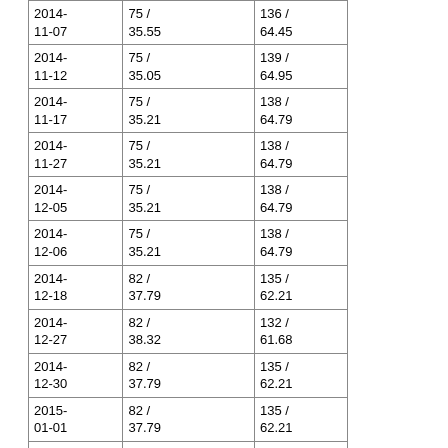| 2014-11-07 | 75 / 35.55 | 136 / 64.45 |
| 2014-11-12 | 75 / 35.05 | 139 / 64.95 |
| 2014-11-17 | 75 / 35.21 | 138 / 64.79 |
| 2014-11-27 | 75 / 35.21 | 138 / 64.79 |
| 2014-12-05 | 75 / 35.21 | 138 / 64.79 |
| 2014-12-06 | 75 / 35.21 | 138 / 64.79 |
| 2014-12-18 | 82 / 37.79 | 135 / 62.21 |
| 2014-12-27 | 82 / 38.32 | 132 / 61.68 |
| 2014-12-30 | 82 / 37.79 | 135 / 62.21 |
| 2015-01-01 | 82 / 37.79 | 135 / 62.21 |
| 2015-01-02 | 82 / 37.79 | 135 / 62.21 |
| 2015-01-06 | 82 / 37.1 | 139 / 62.9 |
| 2015-01-12 | 82 / 37.1 | 139 / 62.9 |
| 2015-01-13 | 82 / 37.27 | 138 / 62.73 |
| 2015-02-13 | 82 / 37.1 | 139 / 62.9 |